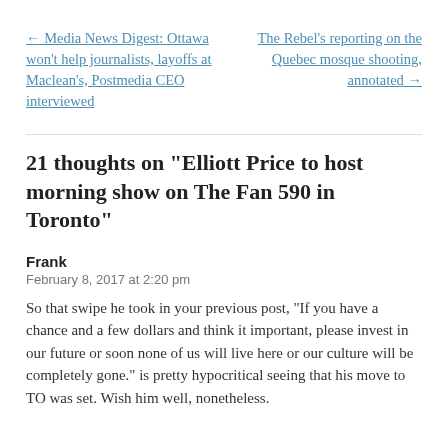← Media News Digest: Ottawa won't help journalists, layoffs at Maclean's, Postmedia CEO interviewed
The Rebel's reporting on the Quebec mosque shooting, annotated →
21 thoughts on "Elliott Price to host morning show on The Fan 590 in Toronto"
Frank
February 8, 2017 at 2:20 pm
So that swipe he took in your previous post, “If you have a chance and a few dollars and think it important, please invest in our future or soon none of us will live here or our culture will be completely gone.” is pretty hypocritical seeing that his move to TO was set. Wish him well, nonetheless.